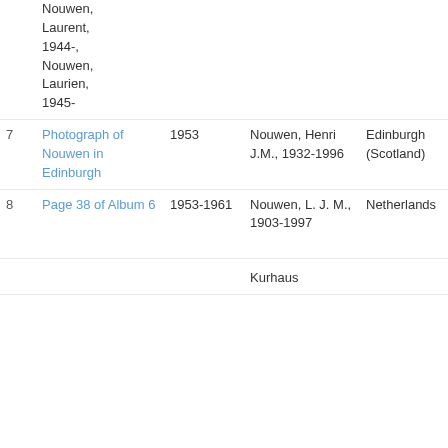| # | Title | Date | Creator | Location | Source |
| --- | --- | --- | --- | --- | --- |
|  | Nouwen, Laurent, 1944-, Nouwen, Laurien, 1945- |  | Resea
Collect |  |  |
| 7 | Photograph of Nouwen in Edinburgh | 1953 | Nouwen, Henri J.M., 1932-1996 | Edinburgh (Scotland) | The He J.M. No Archive and Resea Collect |
| 8 | Page 38 of Album 6 | 1953-1961 | Nouwen, L. J. M., 1903-1997 | Netherlands | The He J.M. No Archive and Resea Collect |
|  |  |  | Kurhaus |  | The He |